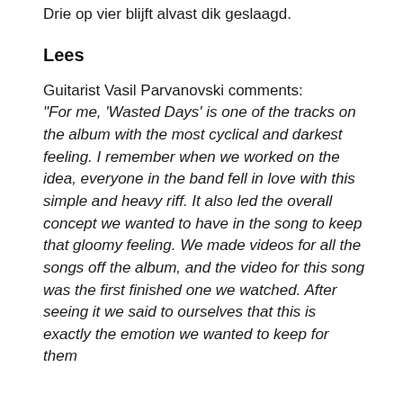Drie op vier blijft alvast dik geslaagd.
Lees
Guitarist Vasil Parvanovski comments: “For me, ‘Wasted Days’ is one of the tracks on the album with the most cyclical and darkest feeling. I remember when we worked on the idea, everyone in the band fell in love with this simple and heavy riff. It also led the overall concept we wanted to have in the song to keep that gloomy feeling. We made videos for all the songs off the album, and the video for this song was the first finished one we watched. After seeing it we said to ourselves that this is exactly the emotion we wanted to keep for them